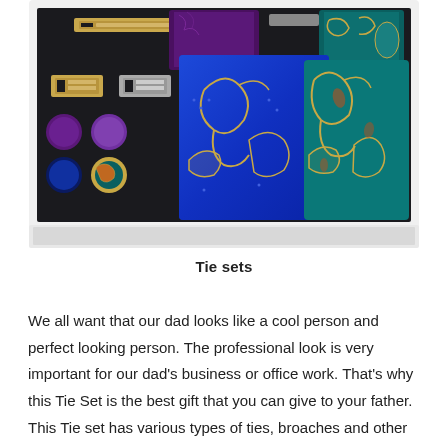[Figure (photo): A gift box containing two silk neckties (one blue with gold paisley pattern, one teal/turquoise with gold paisley pattern), two pocket squares (purple and teal), cufflinks (purple, blue, and multicolor), and a gold tie bar/clip, all arranged on a dark background inside a white box.]
Tie sets
We all want that our dad looks like a cool person and perfect looking person. The professional look is very important for our dad's business or office work. That's why this Tie Set is the best gift that you can give to your father. This Tie set has various types of ties, broaches and other fashionable items included. This tie set's items are perfect for being